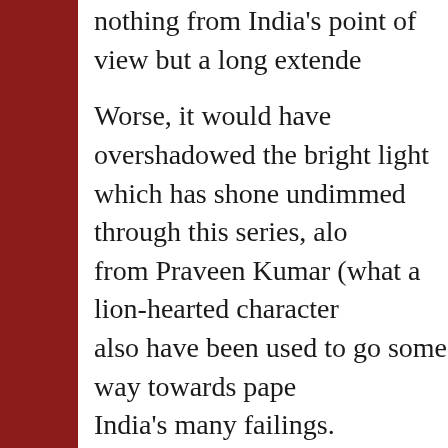nothing from India's point of view but a long extende
Worse, it would have overshadowed the bright light which has shone undimmed through this series, alo from Praveen Kumar (what a lion-hearted character also have been used to go some way towards pape India's many failings.
Good umpiring, as Rod Tucker demonstrated, is no And neither is this England team.
I can't help, though, but wonder whether this is simp or the outward manifestation of a more insidious de the verge of straddling that uncomfortable territory b its galacticos looking towards retirement sooner rath young hopefuls still inexperienced and making their could ever have foreseen them being on the receivi hammering. Kris Srikkanth, India's chief selector, ha of his selection committee, "I can proudly say that w – uncomfortably reminiscent, not only of the band p ship is busily bumping an iceberg, but of Andrew hi